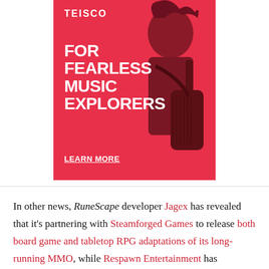[Figure (advertisement): Teisco brand advertisement with red background showing a person with long hair playing guitar, with text 'FOR FEARLESS MUSIC EXPLORERS' and 'LEARN MORE' link]
In other news, RuneScape developer Jagex has revealed that it's partnering with Steamforged Games to release both board game and tabletop RPG adaptations of its long-running MMO, while Respawn Entertainment has confirmed that "Mad